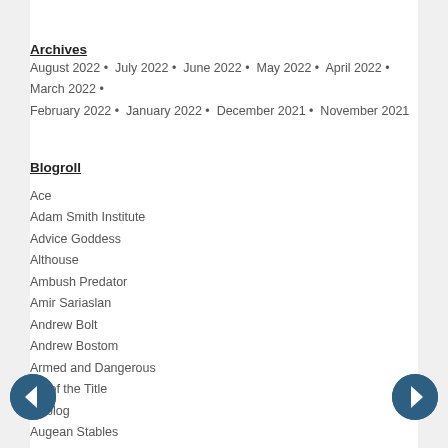Archives
August 2022 • July 2022 • June 2022 • May 2022 • April 2022 • March 2022 • February 2022 • January 2022 • December 2021 • November 2021
Blogroll
Ace
Adam Smith Institute
Advice Goddess
Althouse
Ambush Predator
Amir Sariaslan
Andrew Bolt
Andrew Bostom
Armed and Dangerous
Art of the Title
Artblog
Augean Stables
Ben Shapiro
Ben Sixsmith
Biased BBC